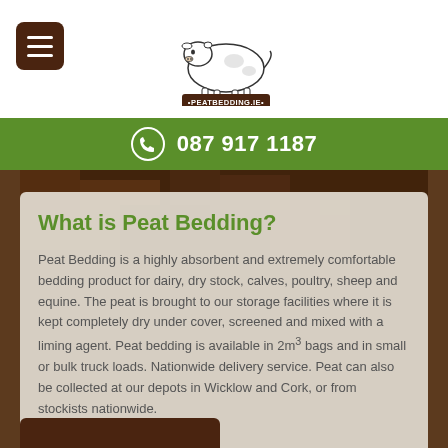[Figure (logo): Peatbedding.ie logo with cow illustration]
087 917 1187
What is Peat Bedding?
Peat Bedding is a highly absorbent and extremely comfortable bedding product for dairy, dry stock, calves, poultry, sheep and equine. The peat is brought to our storage facilities where it is kept completely dry under cover, screened and mixed with a liming agent. Peat bedding is available in 2m³ bags and in small or bulk truck loads. Nationwide delivery service. Peat can also be collected at our depots in Wicklow and Cork, or from stockists nationwide.